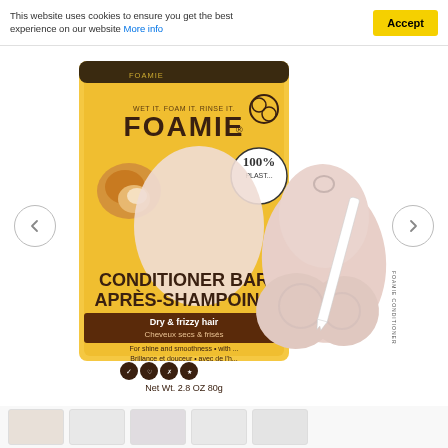This website uses cookies to ensure you get the best experience on our website More info
[Figure (photo): Foamie Conditioner Bar product photo showing yellow packaging box labeled 'WET IT. FOAM IT. RINSE IT. FOAMIE CONDITIONER BAR / APRÈS-SHAMPOOING, Dry & frizzy hair / Cheveux secs & frisés, For shine and smoothness • with ... / Brillance et douceur • avec de l'h..., Net Wt. 2.8 OZ 80g' with 100% Plastic Free badge and vegan/cruelty-free icons, alongside a pink/blush colored solid conditioner bar with a branded ribbon tag reading 'FOAMIE CONDITIONER']
[Figure (photo): Row of 5 small product thumbnail images at the bottom of the page]